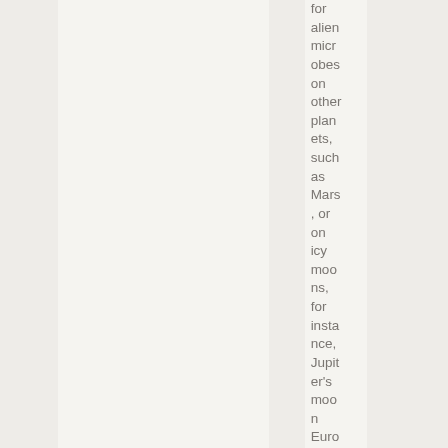for alien microbes on other planets, such as Mars, or on icy moons, for instance, Jupiter's moon Euro